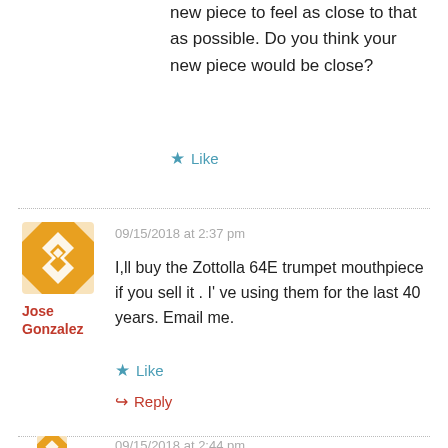new piece to feel as close to that as possible. Do you think your new piece would be close?
Like
09/15/2018 at 2:37 pm
[Figure (illustration): Golden geometric pattern avatar icon for Jose Gonzalez]
Jose Gonzalez
I,ll buy the Zottolla 64E trumpet mouthpiece if you sell it . I' ve using them for the last 40 years. Email me.
Like
Reply
09/15/2018 at 2:44 pm
[Figure (illustration): Golden geometric pattern avatar icon (partially visible)]